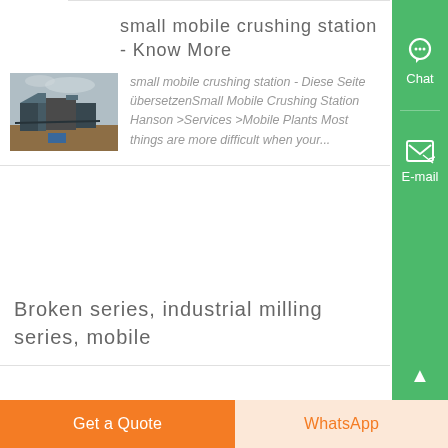small mobile crushing station - Know More
[Figure (photo): Outdoor photo of a small mobile crushing station with industrial machinery and equipment visible under an overcast sky.]
small mobile crushing station - Diese Seite übersetzenSmall Mobile Crushing Station Hanson >Services >Mobile Plants Most things are more difficult when your...
Broken series, industrial milling series, mobile
Chat
E-mail
Get a Quote
WhatsApp